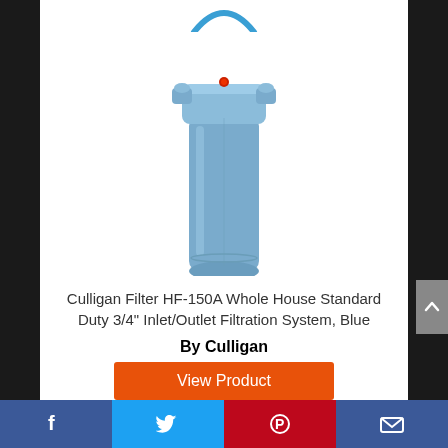[Figure (logo): Culligan brand logo arc in blue, partial view at top of page]
[Figure (photo): Culligan Filter HF-150A water filtration system - blue cylindrical whole house water filter with blue plastic housing and red pressure release button on top]
Culligan Filter HF-150A Whole House Standard Duty 3/4" Inlet/Outlet Filtration System, Blue
By Culligan
[Figure (other): Orange 'View Product' button]
Social share bar with Facebook, Twitter, Pinterest, and Email icons